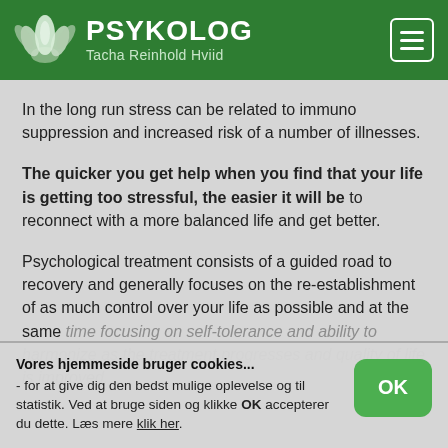PSYKOLOG Tacha Reinhold Hviid
In the long run stress can be related to immuno suppression and increased risk of a number of illnesses.
The quicker you get help when you find that your life is getting too stressful, the easier it will be to reconnect with a more balanced life and get better.
Psychological treatment consists of a guided road to recovery and generally focuses on the re-establishment of as much control over your life as possible and at the same time focusing on self-tolerance and ability to harmonize as the treatment progresses and quality of life is improved.
Vores hjemmeside bruger cookies... - for at give dig den bedst mulige oplevelse og til statistik. Ved at bruge siden og klikke OK accepterer du dette. Læs mere klik her.